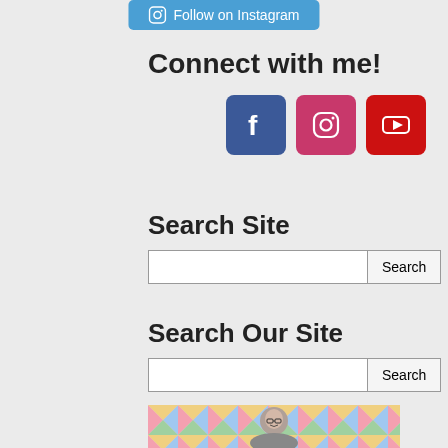[Figure (screenshot): Blue button with Instagram camera icon and text 'Follow on Instagram']
Connect with me!
[Figure (infographic): Three social media icons: Facebook (blue), Instagram (pink/red gradient), YouTube (red)]
Search Site
[Figure (screenshot): Search input field with Search button]
Search Our Site
[Figure (screenshot): Search input field with Search button]
[Figure (photo): Woman with short grey hair and glasses smiling in front of a colorful patchwork quilt backdrop]